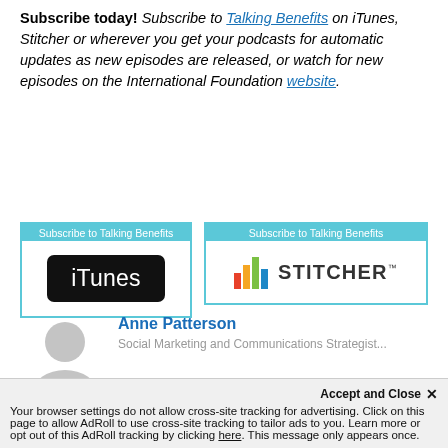Subscribe today! Subscribe to Talking Benefits on iTunes, Stitcher or wherever you get your podcasts for automatic updates as new episodes are released, or watch for new episodes on the International Foundation website.
[Figure (logo): iTunes subscribe badge with cyan border and label 'Subscribe to Talking Benefits']
[Figure (logo): Stitcher subscribe badge with cyan border and label 'Subscribe to Talking Benefits']
[Figure (illustration): Generic user avatar silhouette in gray]
Anne Patterson
Social Marketing and Communications Strategist...
Accept and Close ✕ Your browser settings do not allow cross-site tracking for advertising. Click on this page to allow AdRoll to use cross-site tracking to tailor ads to you. Learn more or opt out of this AdRoll tracking by clicking here. This message only appears once.